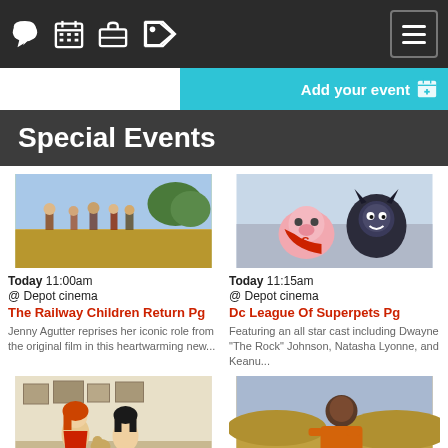Navigation bar with chat, calendar, briefcase, tag icons and hamburger menu
Add your event
Special Events
[Figure (photo): Children running in a field outdoors]
Today 11:00am
@ Depot cinema
The Railway Children Return Pg
Jenny Agutter reprises her iconic role from the original film in this heartwarming new...
[Figure (photo): Animated superpets - a pig and a dog in superhero costumes]
Today 11:15am
@ Depot cinema
Dc League Of Superpets Pg
Featuring an all star cast including Dwayne "The Rock" Johnson, Natasha Lyonne, and Keanu...
[Figure (photo): Animated scene with girl with red hair and dark-haired girl sitting on floor]
Today 11:45am
[Figure (photo): Man in orange hoodie in a desert landscape]
Today 1:30pm